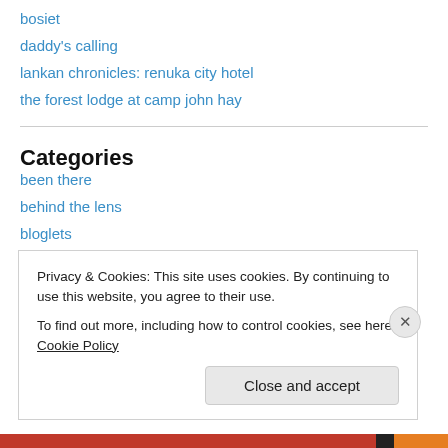bosiet
daddy's calling
lankan chronicles: renuka city hotel
the forest lodge at camp john hay
Categories
been there
behind the lens
bloglets
books that i've read
fashionista
foot facts
Privacy & Cookies: This site uses cookies. By continuing to use this website, you agree to their use.
To find out more, including how to control cookies, see here: Cookie Policy
Close and accept